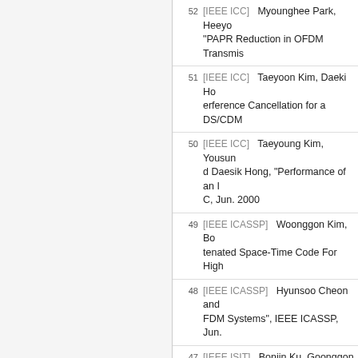52 [IEEE ICC] Myounghee Park, Heeyo... "PAPR Reduction in OFDM Transmis...
51 [IEEE ICC] Taeyoon Kim, Daeki Ho... erference Cancellation for a DS/CDM...
50 [IEEE ICC] Taeyoung Kim, Yousun... d Daesik Hong, "Performance of an I... C, Jun. 2000
49 [IEEE ICASSP] Woonggon Kim, Bo... tenated Space-Time Code For High ...
48 [IEEE ICASSP] Hyunsoo Cheon and... FDM Systems", IEEE ICASSP, Jun. ...
47 [IEEE ISIT] Bonjin Ku, Goonggon Ki... PFSK with Iterative Decoding", IEE I...
46 [IEEE GLOBECOM] Taekwan Kim, N... k and Daesik Hong, "A Fast Burst Sy... ems", IEEE GLOBECOM, Dec. 1999...
45 [IEEE VTC] Hyunsoo Cheon, Byung... Feedback Information in Wideband R...
44 [Other Conf. Papers] Sooyong Choi ... ultilayer Combiner", NNSP, Aug. 199...
43 [IEEE IJCNN] Sooyong Choi and Da... E IJCNN, Jul. 1999...